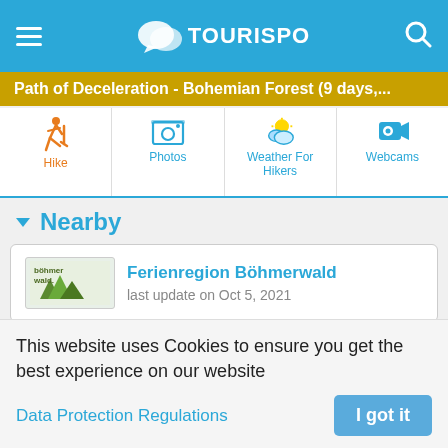TouriSpo
Path of Deceleration - Bohemian Forest (9 days,...
[Figure (screenshot): Navigation tabs: Hike (active, orange), Photos, Weather For Hikers, Webcams]
Nearby
Ferienregion Böhmerwald
last update on Oct 5, 2021
[Figure (infographic): Social share buttons: Share (Facebook), Tweet (Twitter), Mail]
[Figure (screenshot): View toggle: Mobile (active), Desktop]
This website uses Cookies to ensure you get the best experience on our website
Data Protection Regulations
I got it